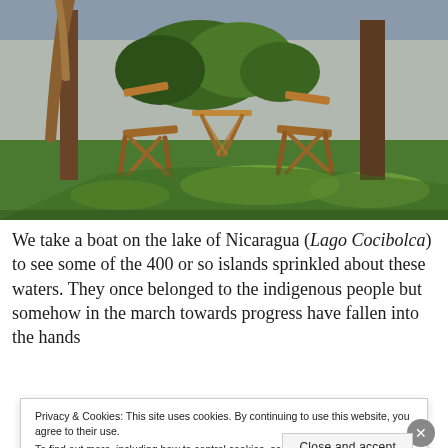[Figure (photo): Outdoor scene with wooden folding chairs and a small wooden table on a grassy area, with trees and a wall in the background. Natural light setting.]
We take a boat on the lake of Nicaragua (Lago Cocibolca) to see some of the 400 or so islands sprinkled about these waters. They once belonged to the indigenous people but somehow in the march towards progress have fallen into the hands
Privacy & Cookies: This site uses cookies. By continuing to use this website, you agree to their use.
To find out more, including how to control cookies, see here: Cookie Policy
Close and accept